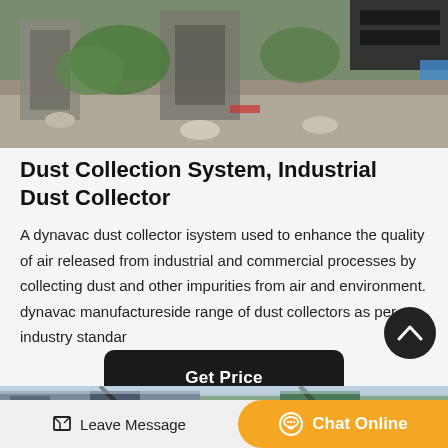[Figure (photo): Aerial view of industrial construction site with concrete structures, gravel, green vegetation, machinery and conveyor belts]
Dust Collection System, Industrial Dust Collector
A dynavac dust collector isystem used to enhance the quality of air released from industrial and commercial processes by collecting dust and other impurities from air and environment. dynavac manufactureside range of dust collectors as per industry standar
[Figure (screenshot): Get Price button — dark rounded rectangle button]
[Figure (photo): Industrial dust collector equipment photograph — partial bottom view showing machinery]
Leave Message  Chat Online